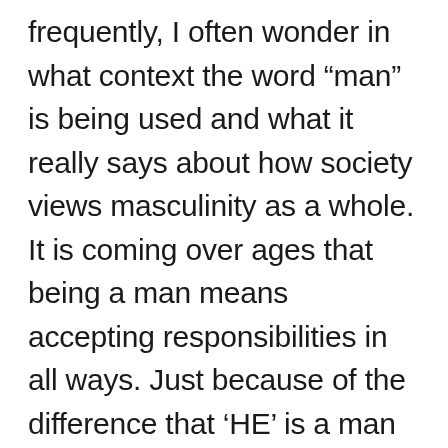frequently, I often wonder in what context the word “man” is being used and what it really says about how society views masculinity as a whole. It is coming over ages that being a man means accepting responsibilities in all ways. Just because of the difference that ‘HE’ is a man people are forgetting that ‘HE’ is a human too that he can also love, cry, care, scream, enjoy and can do what he wants to do.